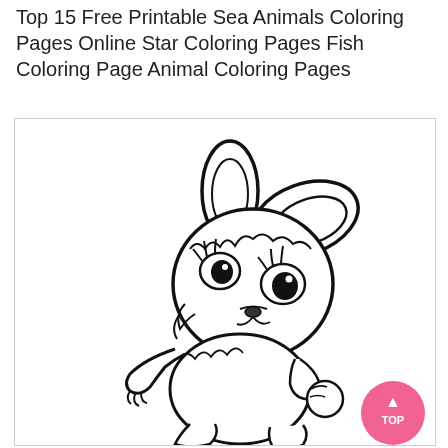Top 15 Free Printable Sea Animals Coloring Pages Online Star Coloring Pages Fish Coloring Page Animal Coloring Pages
[Figure (illustration): A cute cartoon-style line drawing (coloring page) of a small bunny rabbit with large expressive eyes, fluffy fur, long ears, and a playful pose with one paw raised, shown in black and white outline style suitable for coloring.]